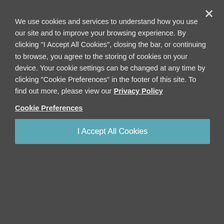[Figure (screenshot): Cookie consent modal overlay on a review website. Modal has dark background with close X button, cookie policy text with Privacy Policy link, Cookie Preferences link, and I Accept All Cookies button. Behind the modal is a review page with star ratings and property response text.]
We use cookies and services to understand how you use our site and to improve your browsing experience. By clicking "I Accept All Cookies", closing the bar, or continuing to browse, you agree to the storing of cookies on your device. Your cookie settings can be changed at any time by clicking "Cookie Preferences" in the footer of this site. To find out more, please view our Privacy Policy
Cookie Preferences
I Accept All Cookies
RESPONSE FROM PROPERTY - MAY 13, 2021
Maurice, Thank you for your review. We're happy to know that we exceeded your expectations! Waverly In Management
SUBMITTED BY BRITTNY E. - APR 12, 2021
RECOMMENDED: YES
Beautiful and Homey — I feel really comfortable on the property and in my apartment. Staff are always making themselves available when I have questions or concerns